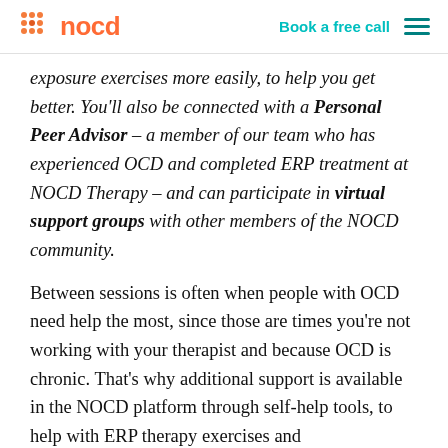nocd | Book a free call
exposure exercises more easily, to help you get better. You'll also be connected with a Personal Peer Advisor – a member of our team who has experienced OCD and completed ERP treatment at NOCD Therapy – and can participate in virtual support groups with other members of the NOCD community.
Between sessions is often when people with OCD need help the most, since those are times you're not working with your therapist and because OCD is chronic. That's why additional support is available in the NOCD platform through self-help tools, to help with ERP therapy exercises and